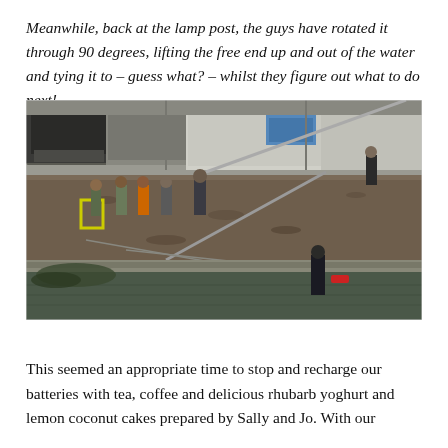Meanwhile, back at the lamp post, the guys have rotated it through 90 degrees, lifting the free end up and out of the water and tying it to – guess what? – whilst they figure out what to do next!
[Figure (photo): Outdoor scene near a waterway or drainage channel. Several workers in waders and safety gear stand on an embankment. Behind them are large industrial vehicles (garbage trucks, tanker trucks). One person stands in the water below. A metal pole or pipe extends diagonally across the scene.]
This seemed an appropriate time to stop and recharge our batteries with tea, coffee and delicious rhubarb yoghurt and lemon coconut cakes prepared by Sally and Jo. With our